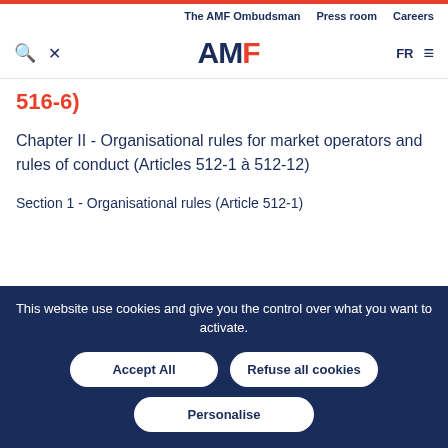The AMF Ombudsman  Press room  Careers
[Figure (logo): AMF logo with search icon, tool icon, FR language selector, and menu icon]
516-6)
Chapter II - Organisational rules for market operators and rules of conduct (Articles 512-1 à 512-12)
Section 1 - Organisational rules (Article 512-1)
This website use cookies and give you the control over what you want to activate.